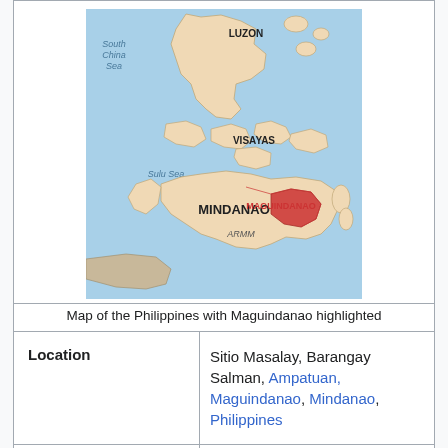[Figure (map): Map of the Philippines with Maguindanao highlighted in red, showing regions Luzon, Visayas, Mindanao, South China Sea, Sulu Sea, ARMM, Malaysia labels]
Map of the Philippines with Maguindanao highlighted
| Location | Sitio Masalay, Barangay Salman, Ampatuan, Maguindanao, Mindanao, Philippines |
| Date | November 23, 2009; 12 years ago
approx. 10:00 a.m. – 3:00 |